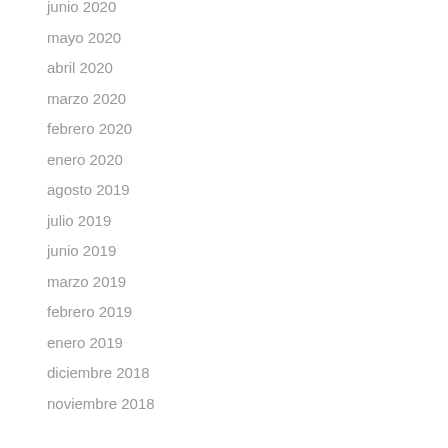junio 2020
mayo 2020
abril 2020
marzo 2020
febrero 2020
enero 2020
agosto 2019
julio 2019
junio 2019
marzo 2019
febrero 2019
enero 2019
diciembre 2018
noviembre 2018